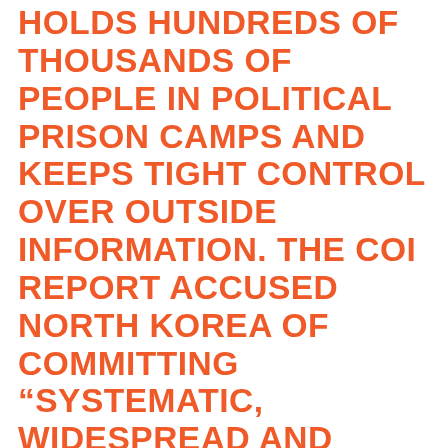HOLDS HUNDREDS OF THOUSANDS OF PEOPLE IN POLITICAL PRISON CAMPS AND KEEPS TIGHT CONTROL OVER OUTSIDE INFORMATION. THE COI REPORT ACCUSED NORTH KOREA OF COMMITTING “SYSTEMATIC, WIDESPREAD AND GRAVE VIOLATIONS OF HUMAN RIGHTS.” IN DECEMBER, THE U.N. GENERAL ASSEMBLY ADOPTED A RESOLUTION FOR THE SECOND CONSECUTIVE YEAR THAT CALLS FOR REFERRING THE NORTH TO THE INTERNATIONAL CRIMINAL COURT FOR HUMAN RIGHTS VIOLATIONS. IN MARCH, THE U.N. HUMAN RIGHTS COUNCIL SET